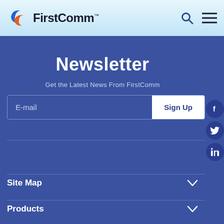[Figure (logo): FirstComm logo with stylized blue and orange F letter mark followed by irstComm text]
Newsletter
Get the Latest News From FirstComm
E-mail
Sign Up
Site Map
Products